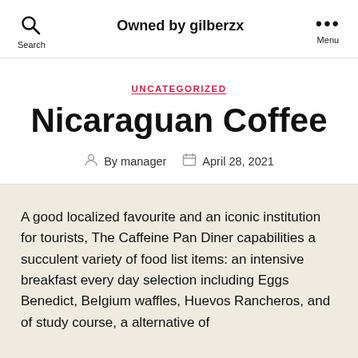Owned by gilberzx
UNCATEGORIZED
Nicaraguan Coffee
By manager   April 28, 2021
A good localized favourite and an iconic institution for tourists, The Caffeine Pan Diner capabilities a succulent variety of food list items: an intensive breakfast every day selection including Eggs Benedict, BeIgium waffles, Huevos Rancheros, and of study course, a alternative of